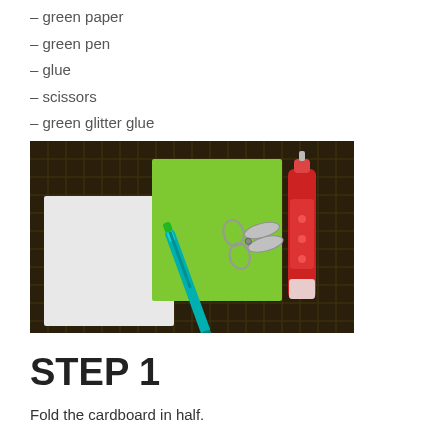– green paper
– green pen
– glue
– scissors
– green glitter glue
[Figure (photo): Craft supplies on a dark bamboo mat background: white cardboard, green cardstock paper, a teal/green pen, scissors, and a red glitter glue bottle]
STEP 1
Fold the cardboard in half.